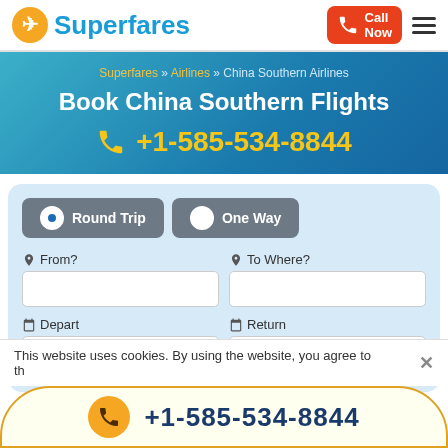Superfares — Call Now — Menu
Superfares » Airlines » China Southern Airlines
Book China Southern Flights
+1-585-534-8844
Round Trip   One Way
From?   To Where?   Depart   Return
This website uses cookies. By using the website, you agree to the
+1-585-534-8844